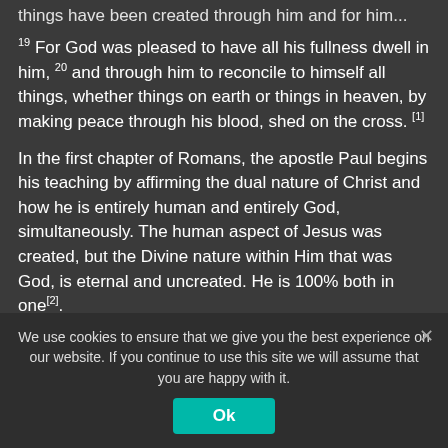things have been created through him and for him...
19 For God was pleased to have all his fullness dwell in him, 20 and through him to reconcile to himself all things, whether things on earth or things in heaven, by making peace through his blood, shed on the cross. [1]
In the first chapter of Romans, the apostle Paul begins his teaching by affirming the dual nature of Christ and how he is entirely human and entirely God, simultaneously. The human aspect of Jesus was created, but the Divine nature within Him that was God, is eternal and uncreated. He is 100% both in one[2].
3 concerning his Son, who was born [a descendant of
We use cookies to ensure that we give you the best experience on our website. If you continue to use this site we will assume that you are happy with it.
Ok